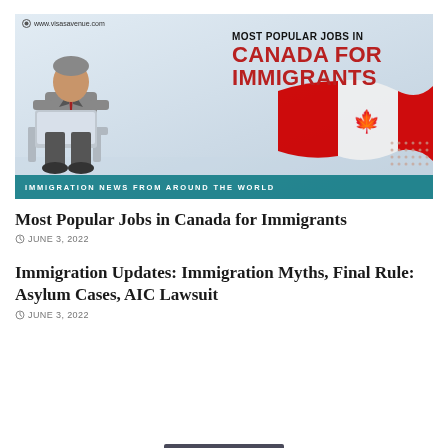[Figure (infographic): Banner image for visasavenue.com showing a man in a suit using a laptop, with text 'MOST POPULAR JOBS IN CANADA FOR IMMIGRANTS', a Canadian flag graphic, and a teal bar reading 'IMMIGRATION NEWS FROM AROUND THE WORLD']
Most Popular Jobs in Canada for Immigrants
JUNE 3, 2022
Immigration Updates: Immigration Myths, Final Rule: Asylum Cases, AIC Lawsuit
JUNE 3, 2022